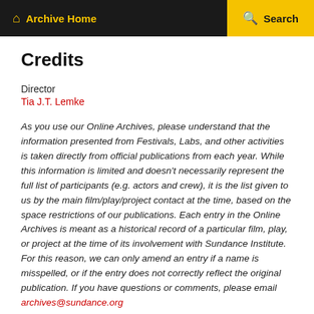Archive Home   Search
Credits
Director
Tia J.T. Lemke
As you use our Online Archives, please understand that the information presented from Festivals, Labs, and other activities is taken directly from official publications from each year. While this information is limited and doesn't necessarily represent the full list of participants (e.g. actors and crew), it is the list given to us by the main film/play/project contact at the time, based on the space restrictions of our publications. Each entry in the Online Archives is meant as a historical record of a particular film, play, or project at the time of its involvement with Sundance Institute. For this reason, we can only amend an entry if a name is misspelled, or if the entry does not correctly reflect the original publication. If you have questions or comments, please email archives@sundance.org